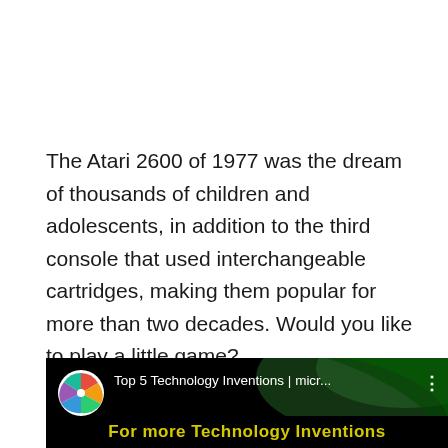The Atari 2600 of 1977 was the dream of thousands of children and adolescents, in addition to the third console that used interchangeable cartridges, making them popular for more than two decades. Would you like to play a little game?
For more please watch
[Figure (screenshot): YouTube video thumbnail showing 'Top 5 Technology Inventions | micr...' with a colorful pinwheel icon on black background with green swoosh, and yellow bold text 'For more Technology Inventions' at the bottom]